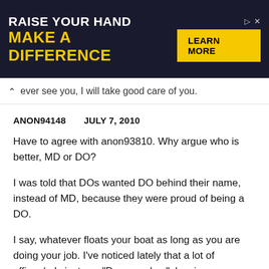[Figure (screenshot): Advertisement banner with dark navy background. Left side: white text 'RAISE YOUR HAND' and yellow bold text 'MAKE A DIFFERENCE'. Right side: small icons and a yellow button 'LEARN MORE'.]
ever see you, I will take good care of you.
ANON94148    JULY 7, 2010
Have to agree with anon93810. Why argue who is better, MD or DO?
I was told that DOs wanted DO behind their name, instead of MD, because they were proud of being a DO.
I say, whatever floats your boat as long as you are doing your job. I've noticed lately that a lot of offices/ads just say "Dr. so and so", leaving